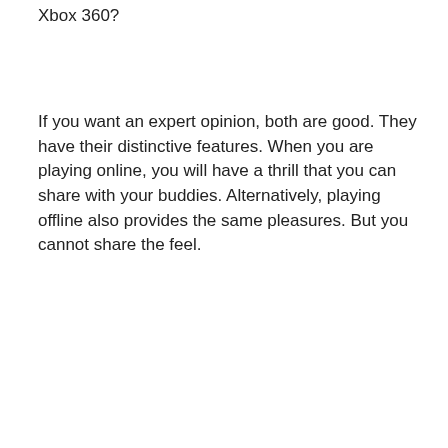Xbox 360?
If you want an expert opinion, both are good. They have their distinctive features. When you are playing online, you will have a thrill that you can share with your buddies. Alternatively, playing offline also provides the same pleasures. But you cannot share the feel.